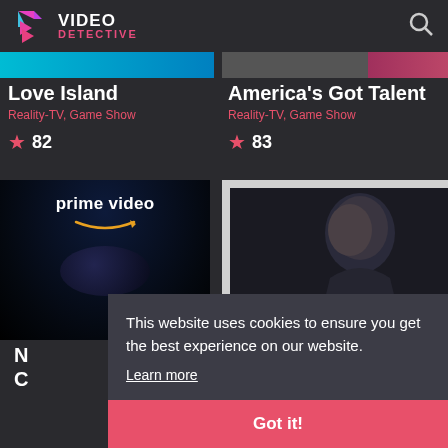[Figure (logo): Video Detective logo with colorful play button icon, VIDEO DETECTIVE text]
Love Island
Reality-TV, Game Show
82
America's Got Talent
Reality-TV, Game Show
83
[Figure (screenshot): Amazon Prime Video logo on dark starry background with planet below]
[Figure (photo): Man with dark hair looking down on grey/white background with dark frame]
N
C
This website uses cookies to ensure you get the best experience on our website.
Learn more
Got it!